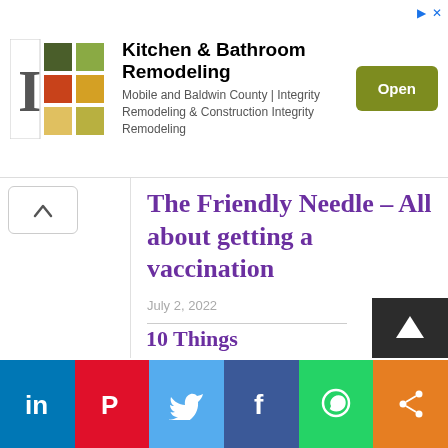[Figure (other): Advertisement banner for Kitchen & Bathroom Remodeling — Mobile and Baldwin County | Integrity Remodeling & Construction Integrity Remodeling, with logo and Open button]
The Friendly Needle – All about getting a vaccination
July 2, 2022
10 Things
[Figure (other): Social share bar with LinkedIn, Pinterest, Twitter, Facebook, WhatsApp, and share icons]